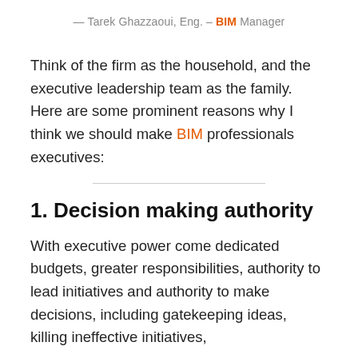— Tarek Ghazzaoui, Eng. – BIM Manager
Think of the firm as the household, and the executive leadership team as the family. Here are some prominent reasons why I think we should make BIM professionals executives:
1. Decision making authority
With executive power come dedicated budgets, greater responsibilities, authority to lead initiatives and authority to make decisions, including gatekeeping ideas, killing ineffective initiatives,